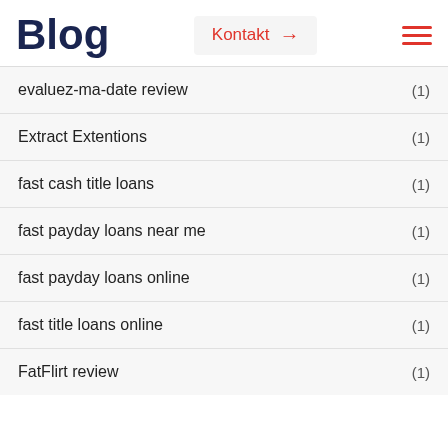Blog
evaluez-ma-date review (1)
Extract Extentions (1)
fast cash title loans (1)
fast payday loans near me (1)
fast payday loans online (1)
fast title loans online (1)
FatFlirt review (1)